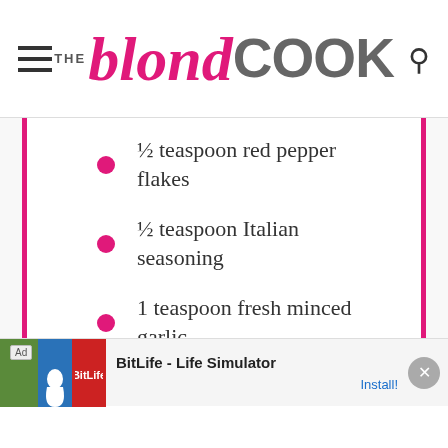[Figure (logo): The Blond Cook logo with hamburger menu icon on the left and search icon on the right]
½ teaspoon red pepper flakes
½ teaspoon Italian seasoning
1 teaspoon fresh minced garlic
[Figure (infographic): Ad banner: BitLife - Life Simulator with Install! link]